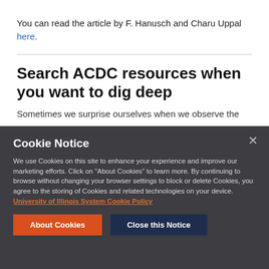You can read the article by F. Hanusch and Charu Uppal here.
Search ACDC resources when you want to dig deep
Sometimes we surprise ourselves when we observe the
Cookie Notice
We use Cookies on this site to enhance your experience and improve our marketing efforts. Click on "About Cookies" to learn more. By continuing to browse without changing your browser settings to block or delete Cookies, you agree to the storing of Cookies and related technologies on your device. University of Illinois System Cookie Policy